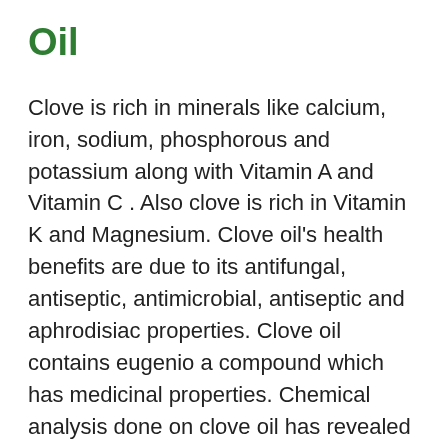Oil
Clove is rich in minerals like calcium, iron, sodium, phosphorous and potassium along with Vitamin A and Vitamin C . Also clove is rich in Vitamin K and Magnesium. Clove oil's health benefits are due to its antifungal, antiseptic, antimicrobial, antiseptic and aphrodisiac properties. Clove oil contains eugenio a compound which has medicinal properties. Chemical analysis done on clove oil has revealed that it contains 36 important ingredients. The most important ingredient contained in clove is essential oil eugenol. Other constituents are crategolic acid, kaempferol, beta-caryophyllene and vanillin.